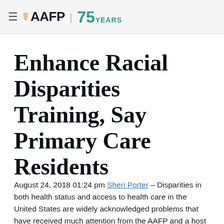≡ AAFP | 75 YEARS
Enhance Racial Disparities Training, Say Primary Care Residents
August 24, 2018 01:24 pm Sheri Porter – Disparities in both health status and access to health care in the United States are widely acknowledged problems that have received much attention from the AAFP and a host of other